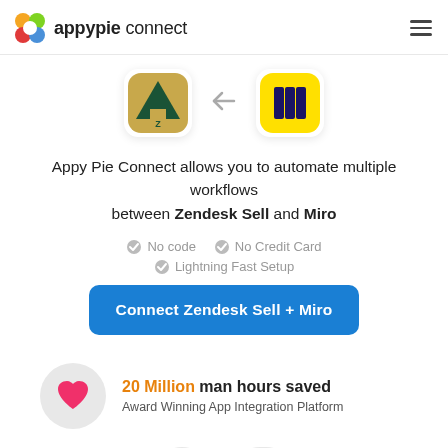appypie connect
[Figure (illustration): Zendesk Sell and Miro app integration icons with left arrow between them]
Appy Pie Connect allows you to automate multiple workflows between Zendesk Sell and Miro
No code
No Credit Card
Lightning Fast Setup
Connect Zendesk Sell + Miro
20 Million man hours saved
Award Winning App Integration Platform